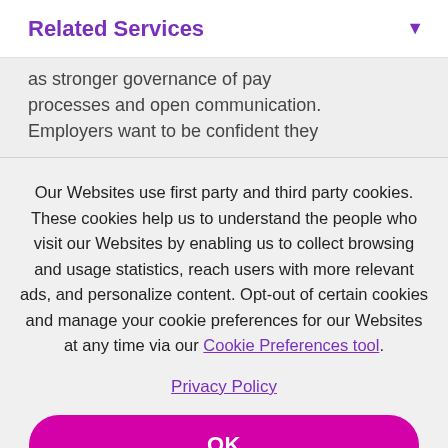Related Services
as stronger governance of pay processes and open communication. Employers want to be confident they
Our Websites use first party and third party cookies. These cookies help us to understand the people who visit our Websites by enabling us to collect browsing and usage statistics, reach users with more relevant ads, and personalize content. Opt-out of certain cookies and manage your cookie preferences for our Websites at any time via our Cookie Preferences tool.
Privacy Policy
OK